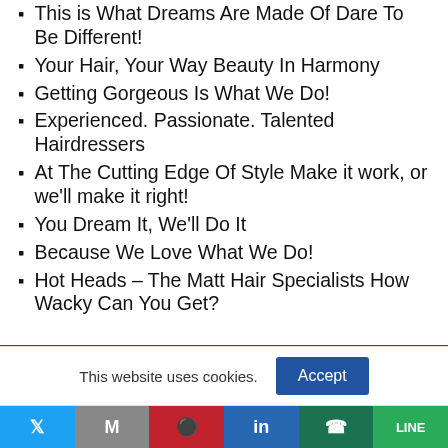This is What Dreams Are Made Of Dare To Be Different!
Your Hair, Your Way Beauty In Harmony
Getting Gorgeous Is What We Do!
Experienced. Passionate. Talented Hairdressers
At The Cutting Edge Of Style Make it work, or we'll make it right!
You Dream It, We'll Do It
Because We Love What We Do!
Hot Heads – The Matt Hair Specialists How Wacky Can You Get?
This website uses cookies. [Accept]